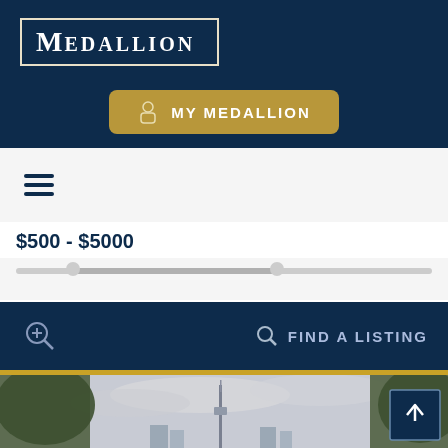[Figure (logo): Medallion logo in white serif text inside a white border rectangle on a dark navy background]
[Figure (screenshot): Gold/olive rounded rectangle button labeled MY MEDALLION with a person icon on the left, on dark navy background]
[Figure (screenshot): Hamburger menu icon with three horizontal dark navy lines on a light gray background]
$500 - $5000
[Figure (screenshot): A range slider showing a price range between $500 and $5000]
[Figure (screenshot): Dark navy bar with a magnifying glass with plus icon on the left and a search icon with FIND A LISTING text on the right]
[Figure (photo): City skyline photo showing the CN Tower with trees framing the image, cloudy sky, and a scroll-to-top button in the bottom right corner]